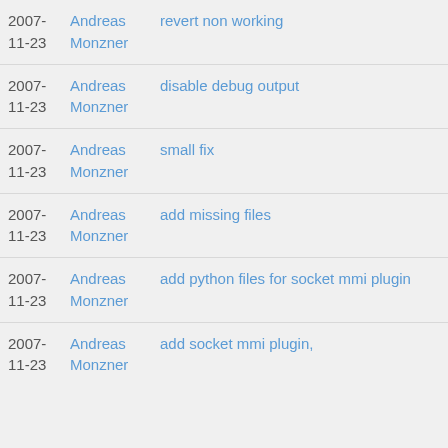2007-11-23  Andreas Monzner  revert non working
2007-11-23  Andreas Monzner  disable debug output
2007-11-23  Andreas Monzner  small fix
2007-11-23  Andreas Monzner  add missing files
2007-11-23  Andreas Monzner  add python files for socket mmi plugin
2007-11-23  Andreas Monzner  add socket mmi plugin,